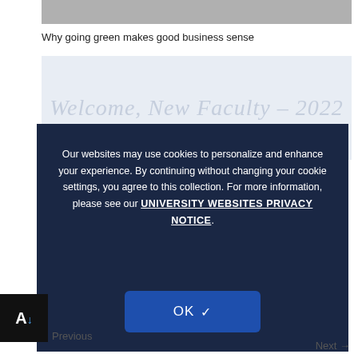[Figure (photo): Top strip photo, partially visible]
Why going green makes good business sense
[Figure (illustration): Welcome, New Faculty – 2022 banner image with light blue background and italic script text]
Nine ... for Fall 2022
Our websites may use cookies to personalize and enhance your experience. By continuing without changing your cookie settings, you agree to this collection. For more information, please see our UNIVERSITY WEBSITES PRIVACY NOTICE.
OK
Previous
Next →